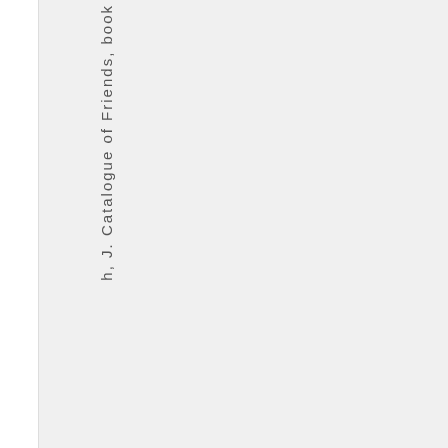h, J. Catalogue of Friends, book